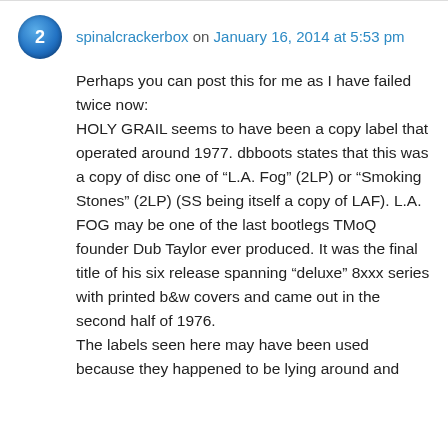spinalcrackerbox on January 16, 2014 at 5:53 pm
Perhaps you can post this for me as I have failed twice now:
HOLY GRAIL seems to have been a copy label that operated around 1977. dbboots states that this was a copy of disc one of “L.A. Fog” (2LP) or “Smoking Stones” (2LP) (SS being itself a copy of LAF). L.A. FOG may be one of the last bootlegs TMoQ founder Dub Taylor ever produced. It was the final title of his six release spanning “deluxe” 8xxx series with printed b&w covers and came out in the second half of 1976.
The labels seen here may have been used because they happened to be lying around and